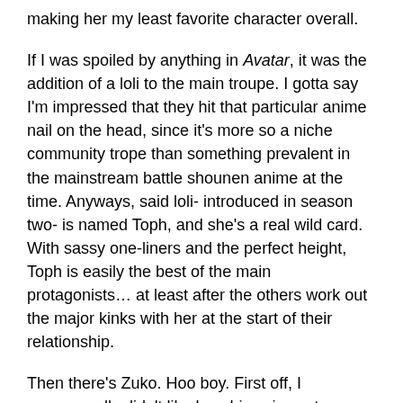making her my least favorite character overall.
If I was spoiled by anything in Avatar, it was the addition of a loli to the main troupe. I gotta say I'm impressed that they hit that particular anime nail on the head, since it's more so a niche community trope than something prevalent in the mainstream battle shounen anime at the time. Anyways, said loli- introduced in season two- is named Toph, and she's a real wild card. With sassy one-liners and the perfect height, Toph is easily the best of the main protagonists… at least after the others work out the major kinks with her at the start of their relationship.
Then there's Zuko. Hoo boy. First off, I reaaaaaaally didn't like how his voice actor portrayed him; I used the word prepubescent to describe him for a reason. As a result, I may be biased in my criticism of the boy. He beats your face in with his one-dimensional irritability. But me, I put up with Bakugo… so, I had a feeling that I'd eventually like him better sometime. And that feeling seems accurate. But more on that